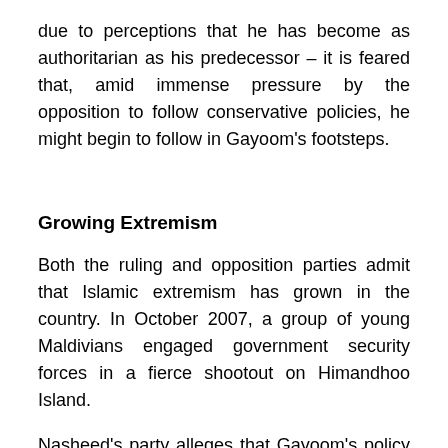due to perceptions that he has become as authoritarian as his predecessor – it is feared that, amid immense pressure by the opposition to follow conservative policies, he might begin to follow in Gayoom's footsteps.
Growing Extremism
Both the ruling and opposition parties admit that Islamic extremism has grown in the country. In October 2007, a group of young Maldivians engaged government security forces in a fierce shootout on Himandhoo Island.
Nasheed's party alleges that Gayoom's policy of promoting the state version of Sunni Islam created an interest to discern “true Islam,” with extremists from Pakistan stepping in to introduce “jihadism” in the